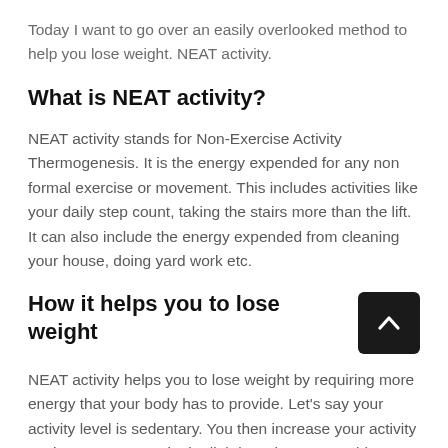Today I want to go over an easily overlooked method to help you lose weight. NEAT activity.
What is NEAT activity?
NEAT activity stands for Non-Exercise Activity Thermogenesis. It is the energy expended for any non formal exercise or movement. This includes activities like your daily step count, taking the stairs more than the lift. It can also include the energy expended from cleaning your house, doing yard work etc.
How it helps you to lose weight
NEAT activity helps you to lose weight by requiring more energy that your body has to provide. Let's say your activity level is sedentary. You then increase your activity so that you are now in the lightly active range. This means your